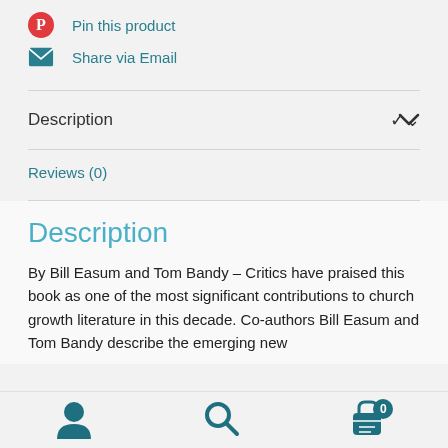Pin this product
Share via Email
Description
Reviews (0)
Description
By Bill Easum and Tom Bandy – Critics have praised this book as one of the most significant contributions to church growth literature in this decade. Co-authors Bill Easum and Tom Bandy describe the emerging new